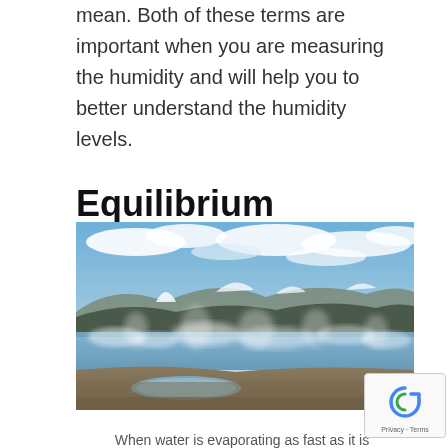mean. Both of these terms are important when you are measuring the humidity and will help you to better understand the humidity levels.
Equilibrium
[Figure (photo): A landscape photo showing a geothermal area or hot spring with steam rising from the ground, a body of water in the foreground, snow-capped mountains in the background, and a blue sky with clouds above.]
When water is evaporating as fast as it is